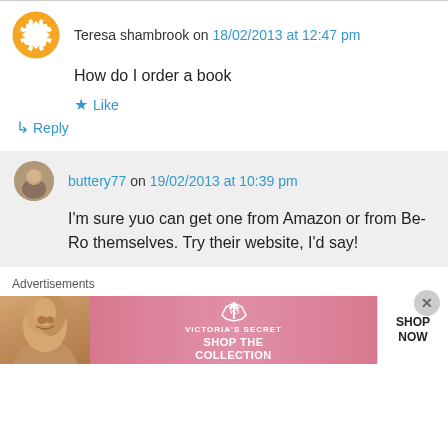Teresa shambrook on 18/02/2013 at 12:47 pm
How do I order a book
Like
Reply
buttery77 on 19/02/2013 at 10:39 pm
I'm sure yuo can get one from Amazon or from Be-Ro themselves. Try their website, I'd say!
Advertisements
[Figure (photo): Victoria's Secret advertisement banner showing a woman with curly hair on the left, Victoria's Secret logo in the center on a pink background with text SHOP THE COLLECTION, and a white SHOP NOW button on the right.]